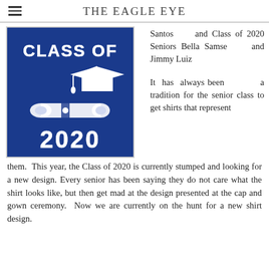THE EAGLE EYE
[Figure (illustration): Blue square graphic with white text 'CLASS OF 2020' and a graduation cap and diploma illustration]
Santos and Class of 2020 Seniors Bella Samse and Jimmy Luiz
It has always been a tradition for the senior class to get shirts that represent them. This year, the Class of 2020 is currently stumped and looking for a new design. Every senior has been saying they do not care what the shirt looks like, but then get mad at the design presented at the cap and gown ceremony. Now we are currently on the hunt for a new shirt design.